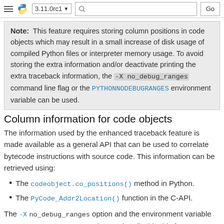3.11.0rc1 [navigation bar with Python logo, search, Go button]
Note: This feature requires storing column positions in code objects which may result in a small increase of disk usage of compiled Python files or interpreter memory usage. To avoid storing the extra information and/or deactivate printing the extra traceback information, the -X no_debug_ranges command line flag or the PYTHONNODEBUGRANGES environment variable can be used.
Column information for code objects
The information used by the enhanced traceback feature is made available as a general API that can be used to correlate bytecode instructions with source code. This information can be retrieved using:
The codeobject.co_positions() method in Python.
The PyCode_Addr2Location() function in the C-API.
The -X no_debug_ranges option and the environment variable PYTHONNODEBUGRANGES can be used to disable this feature.
See PEP 657 for more details. (Contributed by Pablo Galindo